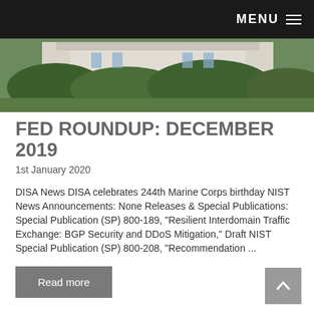MENU
[Figure (photo): Aerial or ground-level photo of a government building with trees and lawn in background]
FED ROUNDUP: DECEMBER 2019
1st January 2020
DISA News DISA celebrates 244th Marine Corps birthday NIST News Announcements: None Releases & Special Publications: Special Publication (SP) 800-189, "Resilient Interdomain Traffic Exchange: BGP Security and DDoS Mitigation," Draft NIST Special Publication (SP) 800-208, "Recommendation ...
Read more